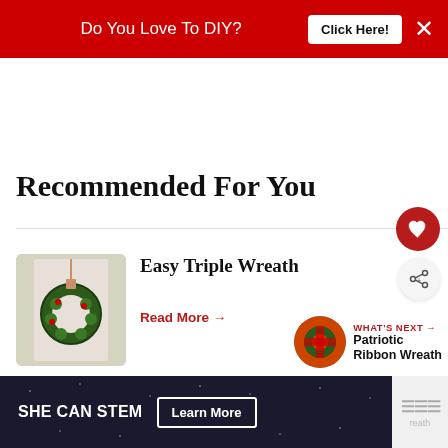Do You Love To DIY?  Click Here!  ×
Recommended For You
Easy Triple Wreath
Read More →
WHAT'S NEXT → Patriotic Ribbon Wreath
SHE CAN STEM  Learn More